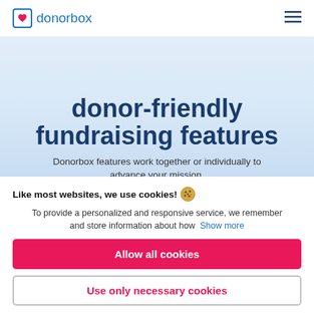donorbox
donor-friendly fundraising features
Donorbox features work together or individually to advance your mission.
Like most websites, we use cookies!
To provide a personalized and responsive service, we remember and store information about how  Show more
Allow all cookies
Use only necessary cookies
More options